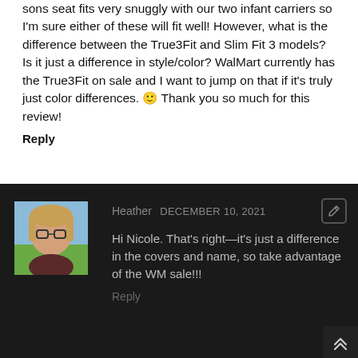sons seat fits very snuggly with our two infant carriers so I'm sure either of these will fit well! However, what is the difference between the True3Fit and Slim Fit 3 models? Is it just a difference in style/color? WalMart currently has the True3Fit on sale and I want to jump on that if it's truly just color differences. 🙂 Thank you so much for this review!
Reply
Heather DECEMBER 10, 2021
[Figure (photo): Profile photo of Heather, a woman with glasses and blonde hair, outdoors with blue sky and green background]
Hi Nicole. That's right—it's just a difference in the covers and name, so take advantage of the WM sale!!!
Reply